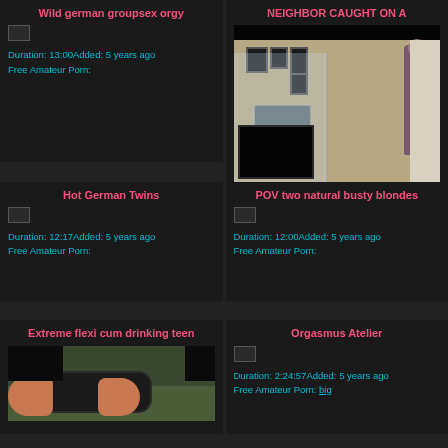Wild german groupsex orgy
Duration: 13:00Added: 5 years ago Free Amateur Porn:
[Figure (screenshot): Gym scene with glass partition, TV monitor, wall frames, person silhouette]
NEIGHBOR CAUGHT ON A
Duration: 6:00Added: 5 years ago Free Amateur Porn:
Hot German Twins
Duration: 12:17Added: 5 years ago Free Amateur Porn:
POV two natural busty blondes
Duration: 12:00Added: 5 years ago Free Amateur Porn:
Extreme flexi cum drinking teen
[Figure (photo): Hands holding a dark cylindrical object on green surface]
Orgasmus Atelier
Duration: 2:24:57Added: 5 years ago Free Amateur Porn: big